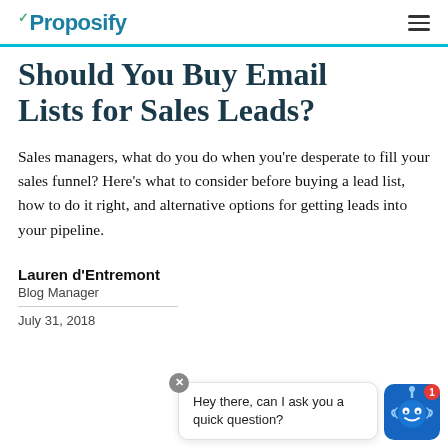Proposify
Should You Buy Email Lists for Sales Leads?
Sales managers, what do you do when you're desperate to fill your sales funnel? Here's what to consider before buying a lead list, how to do it right, and alternative options for getting leads into your pipeline.
Lauren d'Entremont
Blog Manager
July 31, 2018
[Figure (screenshot): Chat widget popup in bottom right corner with robot avatar and badge showing '1', message bubble saying 'Hey there, can I ask you a quick question?' with close button]